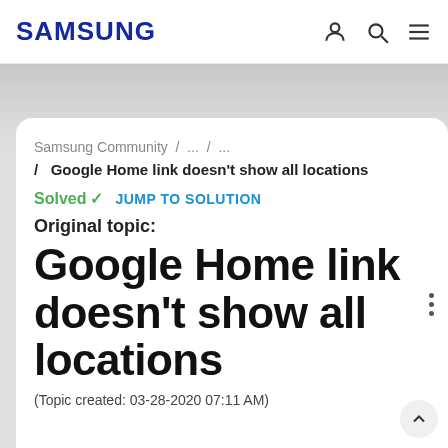SAMSUNG
Samsung Community / ... / ... / Google Home link doesn't show all locations
Solved ✓  JUMP TO SOLUTION
Original topic:
Google Home link doesn't show all locations
(Topic created: 03-28-2020 07:11 AM)